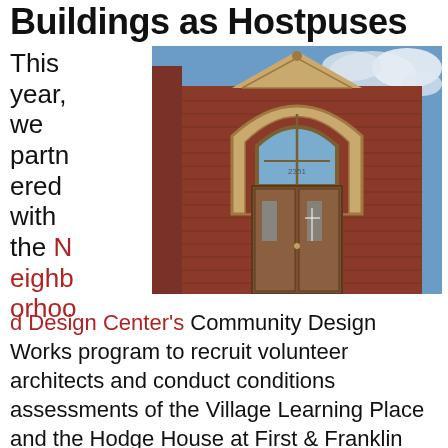Buildings as Hostpuses
This year, we partnered with the Neighborhood Design Center's Community Design Works program to recruit volunteer architects and conduct conditions assessments of the Village Learning Place and the Hodge House at First & Franklin Church. We're now interviewing local nonprofit leaders with the Friends of Patterson Park and
[Figure (photo): Exterior photograph of a red brick building with a Romanesque arch entrance, large arched window above wooden double doors, ornate stonework, photographed from below against a blue sky with clouds.]